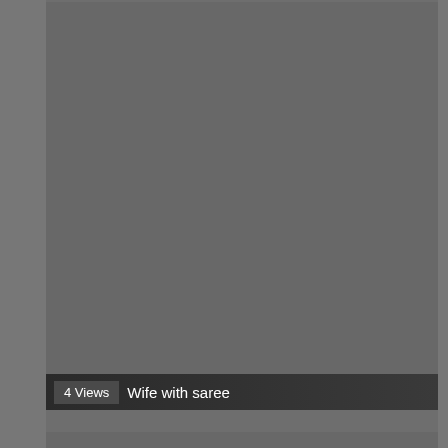[Figure (screenshot): Video thumbnail card showing a grey placeholder image with overlay bar showing '4 Views' badge and title 'Wife with saree']
[Figure (screenshot): Video thumbnail card showing a grey placeholder image with overlay bar showing '5 Views' badge and title 'Indian handsome teen boy trying to fuck hardly']
s. aunty ass licking